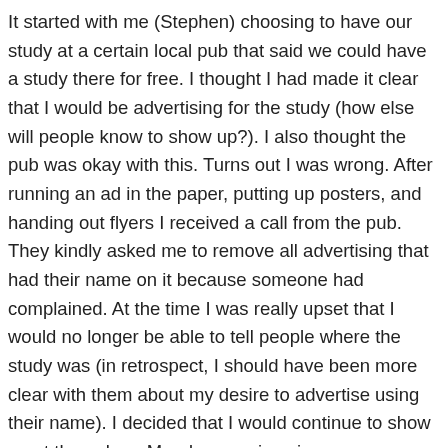It started with me (Stephen) choosing to have our study at a certain local pub that said we could have a study there for free. I thought I had made it clear that I would be advertising for the study (how else will people know to show up?). I also thought the pub was okay with this. Turns out I was wrong. After running an ad in the paper, putting up posters, and handing out flyers I received a call from the pub. They kindly asked me to remove all advertising that had their name on it because someone had complained. At the time I was really upset that I would no longer be able to tell people where the study was (in retrospect, I should have been more clear with them about my desire to advertise using their name). I decided that I would continue to show up at the pub on Monday evenings in case someone were to randomly show up for the study. As the weeks went by and no one came I became more irritated and down every Monday as it became clearer and clearer that our first Bible Study was